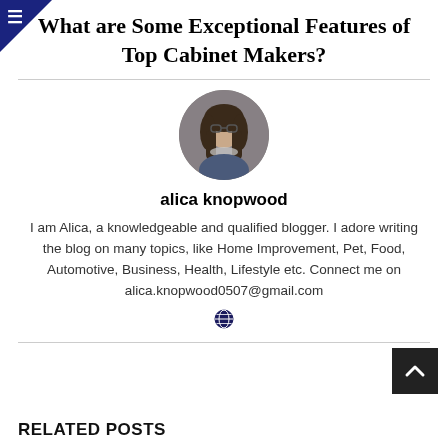What are Some Exceptional Features of Top Cabinet Makers?
[Figure (photo): Circular avatar photo of blogger Alica Knopwood, a woman with dark hair and glasses]
alica knopwood
I am Alica, a knowledgeable and qualified blogger. I adore writing the blog on many topics, like Home Improvement, Pet, Food, Automotive, Business, Health, Lifestyle etc. Connect me on alica.knopwood0507@gmail.com
RELATED POSTS